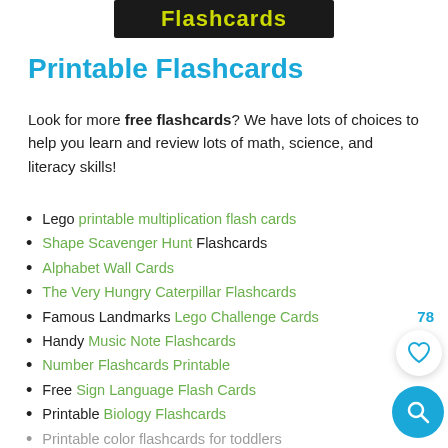[Figure (logo): Black banner with yellow bold text reading 'Flashcards']
Printable Flashcards
Look for more free flashcards? We have lots of choices to help you learn and review lots of math, science, and literacy skills!
Lego printable multiplication flash cards
Shape Scavenger Hunt Flashcards
Alphabet Wall Cards
The Very Hungry Caterpillar Flashcards
Famous Landmarks Lego Challenge Cards
Handy Music Note Flashcards
Number Flashcards Printable
Free Sign Language Flash Cards
Printable Biology Flashcards
Printable color flashcards for toddlers
Free Printable Shape Flashcards
Minion Division Printable Math Flashcards